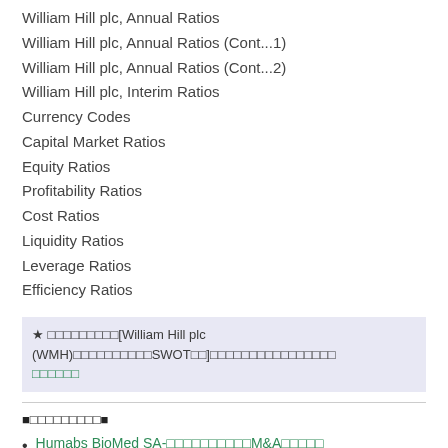William Hill plc, Annual Ratios
William Hill plc, Annual Ratios (Cont...1)
William Hill plc, Annual Ratios (Cont...2)
William Hill plc, Interim Ratios
Currency Codes
Capital Market Ratios
Equity Ratios
Profitability Ratios
Cost Ratios
Liquidity Ratios
Leverage Ratios
Efficiency Ratios
★ □□□□□□□□□[William Hill plc (WMH)□□□□□□□□□□SWOT□□]□□□□□□□□□□□□□□□□
■□□□□□□□□□■
Humabs BioMed SA-□□□□□□□□□□M&A□□□□□